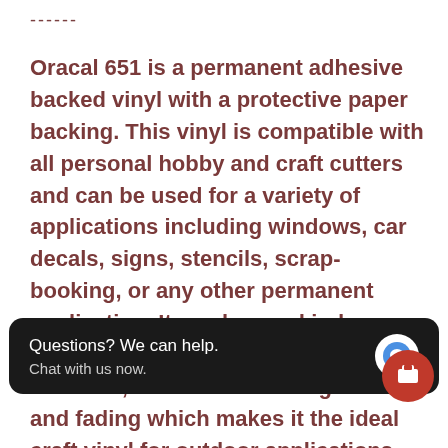------
Oracal 651 is a permanent adhesive backed vinyl with a protective paper backing. This vinyl is compatible with all personal hobby and craft cutters and can be used for a variety of applications including windows, car decals, signs, stencils, scrap-booking, or any other permanent application. It can be used indoor or outdoor. 651 is water proof, weather resistant, and resists UV degradation and fading which makes it the ideal craft vinyl for outdoor applications. Product Highlights: Finish: Gloss Thickness: 2.5 mil Adhesive: Permanent 6 [obscured] ity **Swatc[h] colors are no[t] [representa]tion. Colors may vary depending on monitor settings.
[Figure (screenshot): Chat popup overlay reading 'Questions? We can help. Chat with us now.' with a blue message bubble icon on a dark background, and a red circular help button on the right.]